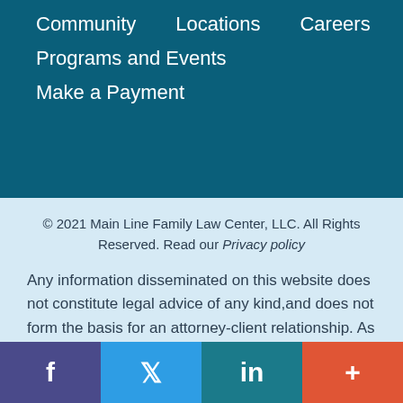Community
Locations
Careers
Programs and Events
Make a Payment
© 2021 Main Line Family Law Center, LLC. All Rights Reserved. Read our Privacy policy
Any information disseminated on this website does not constitute legal advice of any kind,and does not form the basis for an attorney-client relationship. As such, the reader of such information is advised to consult directly with a competent legal